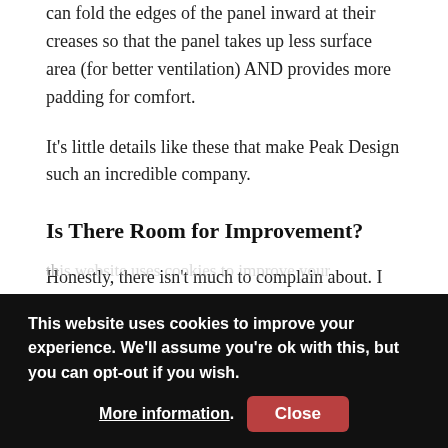can fold the edges of the panel inward at their creases so that the panel takes up less surface area (for better ventilation) AND provides more padding for comfort.
It's little details like these that make Peak Design such an incredible company.
Is There Room for Improvement?
Honestly, there isn't much to complain about. I really do love the design of this backpack.
(faded/partially visible text)
This website uses cookies to improve your experience. We'll assume you're ok with this, but you can opt-out if you wish. More information. Close